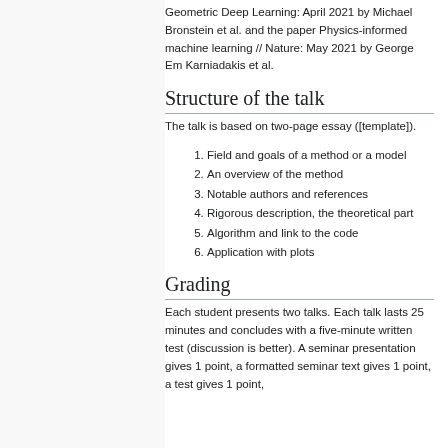Geometric Deep Learning: April 2021 by Michael Bronstein et al. and the paper Physics-informed machine learning // Nature: May 2021 by George Em Karniadakis et al.
Structure of the talk
The talk is based on two-page essay ([template]).
Field and goals of a method or a model
An overview of the method
Notable authors and references
Rigorous description, the theoretical part
Algorithm and link to the code
Application with plots
Grading
Each student presents two talks. Each talk lasts 25 minutes and concludes with a five-minute written test (discussion is better). A seminar presentation gives 1 point, a formatted seminar text gives 1 point, a test gives 1 point,